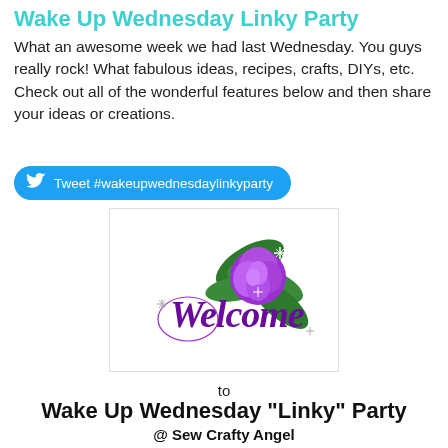Wake Up Wednesday Linky Party
What an awesome week we had last Wednesday. You guys really rock! What fabulous ideas, recipes, crafts, DIYs, etc. Check out all of the wonderful features below and then share your ideas or creations.
Tweet #wakeupwednesdaylinkyparty
[Figure (illustration): Welcome image with a purple rose and cursive 'Welcome' text on a white background with sparkle effects and green leaves]
to
Wake Up Wednesday "Linky" Party
@ Sew Crafty Angel